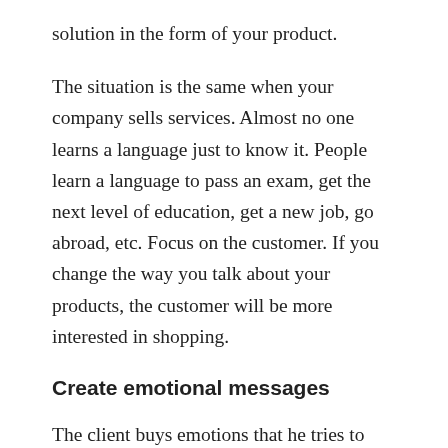solution in the form of your product.
The situation is the same when your company sells services. Almost no one learns a language just to know it. People learn a language to pass an exam, get the next level of education, get a new job, go abroad, etc. Focus on the customer. If you change the way you talk about your products, the customer will be more interested in shopping.
Create emotional messages
The client buys emotions that he tries to logically justify. When he buys a product, he thinks about the emotions and well-being that will arise during or after the purchase. This is how